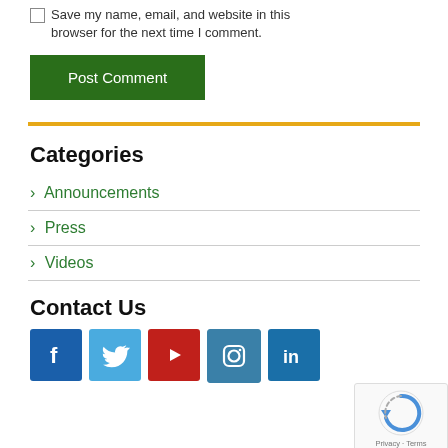Save my name, email, and website in this browser for the next time I comment.
Post Comment
Categories
> Announcements
> Press
> Videos
Contact Us
[Figure (infographic): Social media icons: Facebook, Twitter, YouTube, Instagram, LinkedIn]
[Figure (infographic): reCAPTCHA badge with Privacy and Terms text]